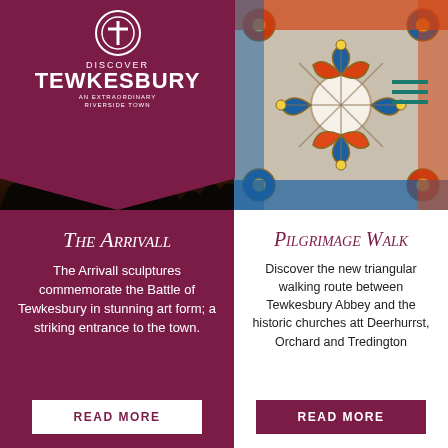[Figure (logo): Discover Tewkesbury logo - cross in circle, dark red/maroon background with text 'DISCOVER TEWKESBURY AN EXTRAORDINARY RIVERSIDE TOWN']
[Figure (photo): Silhouette of Arrivall sculpture against sunset sky]
[Figure (photo): Stained glass window with blue, orange, red and gold colours]
The Arrivall
The Arrivall sculptures commemorate the Battle of Tewkesbury in stunning art form; a striking entrance to the town.
READ MORE
Pilgrimage Walk
Discover the new triangular walking route between Tewkesbury Abbey and the historic churches att Deerhurrst, Orchard and Tredington
READ MORE